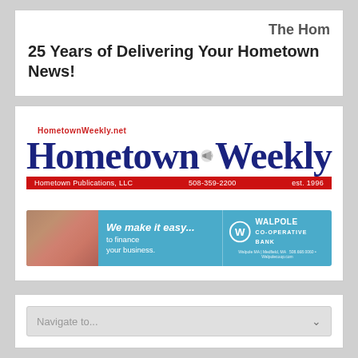The Hom
25 Years of Delivering Your Hometown News!
[Figure (logo): Hometown Weekly newspaper logo with megaphone graphic, red banner reading 'Hometown Publications, LLC  508-359-2200  est. 1996', and website HometownWeekly.net]
[Figure (infographic): Walpole Co-operative Bank advertisement banner: 'We make it easy... to finance your business.' with teal background and bank logo]
Navigate to...